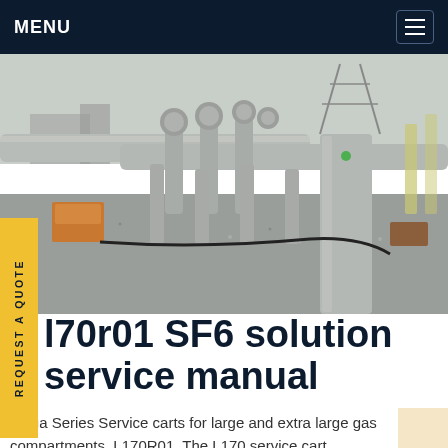MENU
[Figure (photo): Industrial gas substation with large pipe manifolds, spherical valve heads, gravel ground, and a concrete pillar in the foreground. Overcast sky, industrial electrical equipment visible in background.]
l70r01 SF6 solution service manual
Mega Series Service carts for large and extra large gas compartments. L170R01. The L170 service cart